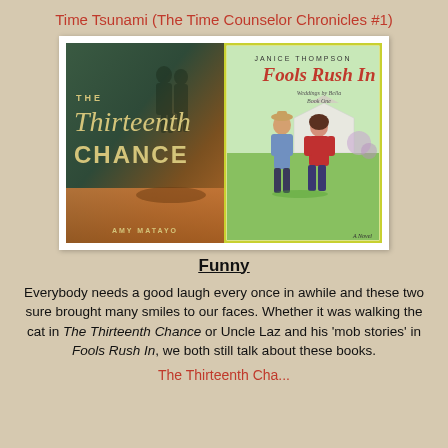Time Tsunami (The Time Counselor Chronicles #1)
[Figure (photo): Two book covers side by side: 'The Thirteenth Chance' by Amy Matayo on the left (dark teal/brown cover with silhouetted couple) and 'Fools Rush In' by Janice Thompson on the right (couple standing back-to-back outdoors).]
Funny
Everybody needs a good laugh every once in awhile and these two sure brought many smiles to our faces. Whether it was walking the cat in The Thirteenth Chance or Uncle Laz and his 'mob stories' in Fools Rush In, we both still talk about these books.
The Thirteenth Cha...